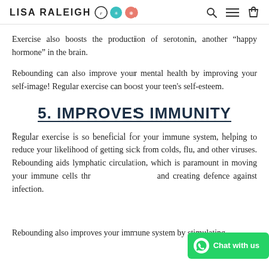LISA RALEIGH [logo icons] [search] [menu] [cart]
Exercise also boosts the production of serotonin, another “happy hormone” in the brain.
Rebounding can also improve your mental health by improving your self-image! Regular exercise can boost your teen's self-esteem.
5. IMPROVES IMMUNITY
Regular exercise is so beneficial for your immune system, helping to reduce your likelihood of getting sick from colds, flu, and other viruses. Rebounding aids lymphatic circulation, which is paramount in moving your immune cells throughout the body and creating defence against infection.
Rebounding also improves your immune system by stimulating